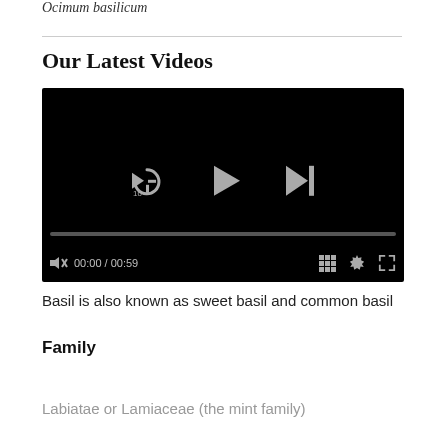Ocimum basilicum
Our Latest Videos
[Figure (screenshot): Embedded video player with black background showing playback controls: rewind 10s button, play button, skip-next button, progress bar at 00:00/00:59, mute button, grid/playlist button, settings gear, and fullscreen button.]
Basil is also known as sweet basil and common basil
Family
Labiatae or Lamiaceae (the mint family)